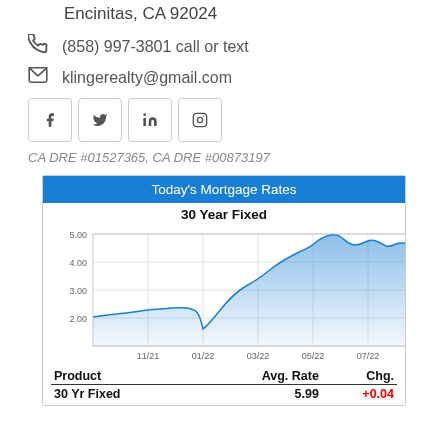Encinitas, CA 92024
(858) 997-3801 call or text
klingerealty@gmail.com
[Figure (other): Social media icon buttons: Facebook, Twitter, LinkedIn, Instagram]
CA DRE #01527365, CA DRE #00873197
Today's Mortgage Rates
[Figure (area-chart): 30 Year Fixed]
| Product | Avg. Rate | Chg. |
| --- | --- | --- |
| 30 Yr Fixed | 5.99 | +0.04 |